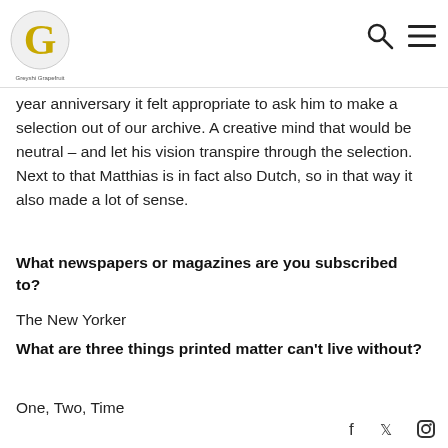Greyshi Grapefruit logo with search and menu icons
year anniversary it felt appropriate to ask him to make a selection out of our archive.  A creative mind that would be neutral – and let his vision transpire through the selection. Next to that Matthias is in fact also Dutch, so in that way it also made a lot of sense.
What newspapers or magazines are you subscribed to?
The New Yorker
What are three things printed matter can't live without?
One, Two, Time
Social media icons: Facebook, Twitter, Instagram